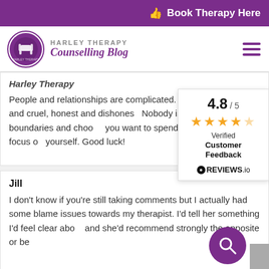Book Therapy Here
[Figure (logo): Harley Therapy Counselling Blog logo with circular purple emblem]
Harley Therapy
People and relationships are complicated. We all can be kind and cruel, honest and dishonest. Nobody is a saint. Set boundaries and choose who you want to spend energy with and focus on yourself. Good luck!
[Figure (infographic): Review widget showing 4.8/5 rating with orange stars, Verified Customer Feedback badge, REVIEWS.io logo]
Jill
I don't know if you're still taking comments but I actually had some blame issues towards my therapist. I'd tell her something I'd feel clear about and she'd recommend strongly the opposite or be